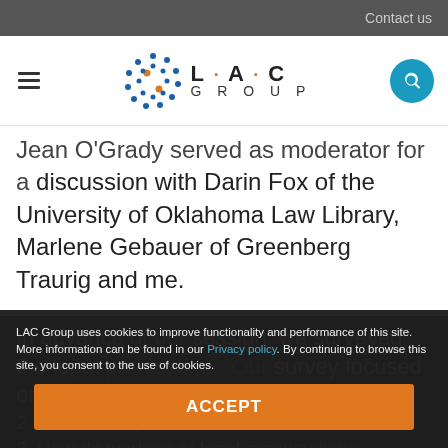Contact us
[Figure (logo): LAC Group logo with circular dot pattern and text 'L·A·C GROUP']
Jean O'Grady served as moderator for a discussion with Darin Fox of the University of Oklahoma Law Library, Marlene Gebauer of Greenberg Traurig and me.
In advance of our session, we surveyed the le... Our survey focused on legal innovation.
2. Who's doing it?
3. How do workers at legal organizations...
LAC Group uses cookies to improve functionality and performance of this site. More information can be found in our Privacy policy. By continuing to browse this site, you consent to the use of cookies.